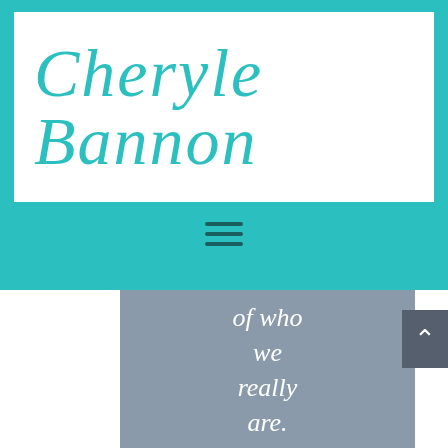Cheryle Bannon
[Figure (other): Hamburger menu icon with three horizontal lines in dark teal color on teal background]
of who we really are.
Cheryle